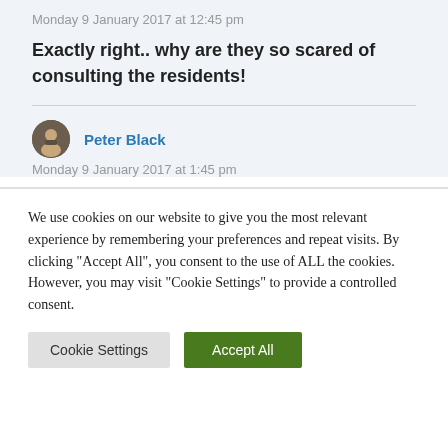Monday 9 January 2017 at 12:45 pm
Exactly right.. why are they so scared of consulting the residents!
Peter Black
Monday 9 January 2017 at 1:45 pm
We use cookies on our website to give you the most relevant experience by remembering your preferences and repeat visits. By clicking "Accept All", you consent to the use of ALL the cookies. However, you may visit "Cookie Settings" to provide a controlled consent.